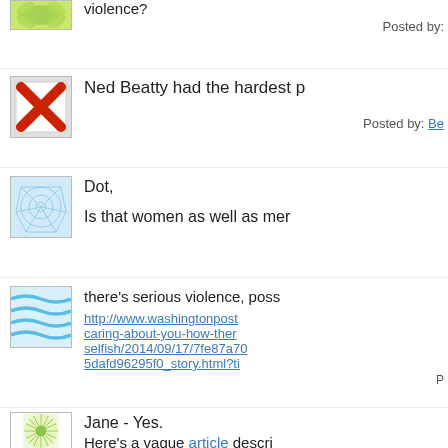violence?
Posted by:
Ned Beatty had the hardest p...
Posted by: Be...
Dot,
Is that women as well as men...
there's serious violence, poss...
http://www.washingtonpost... caring-about-you-how-ther... selfish/2014/09/17/7fe87a70... 5dafd96295f0_story.html?ti...
P...
Jane - Yes.
Here's a vague article descri...